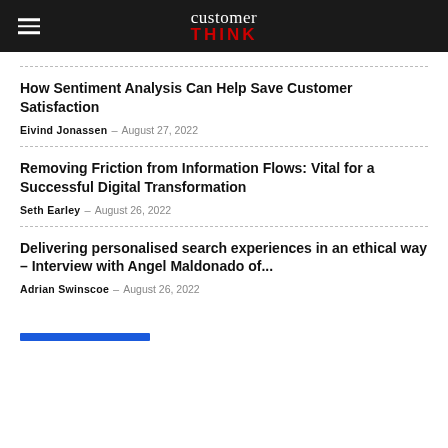customerTHINK
How Sentiment Analysis Can Help Save Customer Satisfaction
Eivind Jonassen – August 27, 2022
Removing Friction from Information Flows: Vital for a Successful Digital Transformation
Seth Earley – August 26, 2022
Delivering personalised search experiences in an ethical way – Interview with Angel Maldonado of...
Adrian Swinscoe – August 26, 2022